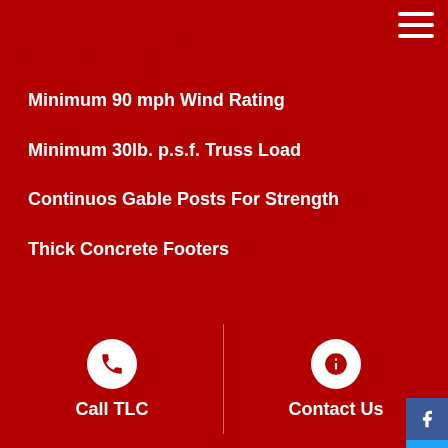[Figure (screenshot): Hamburger menu icon (three white horizontal lines) in top-right corner on red background]
Minimum 90 mph Wind Rating
Minimum 30lb. p.s.f. Truss Load
Continuos Gable Posts For Strength
Thick Concrete Footers
Copyright © 2022. Tam Lapp Construction LLC. All Rights Reserved. Pole Barn, Pole Building, Pennsylvania Pole Barns, East Coast Pole Buildings, Tam Lapp Construction LLC • New Pole Barn | Sitemap Residential, Commercial & Agricultural Pole Barn Buildings. Get a Free Quote at Tam Lapp Construction, LLC.
Call TLC
Contact Us